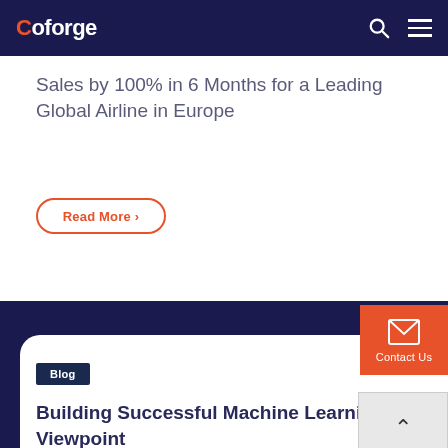Coforge
Sales by 100% in 6 Months for a Leading Global Airline in Europe
Read More ›
Blog
Building Successful Machine Learning Foundations in Enterprises—A Practitioner's Viewpoint
Contact Us